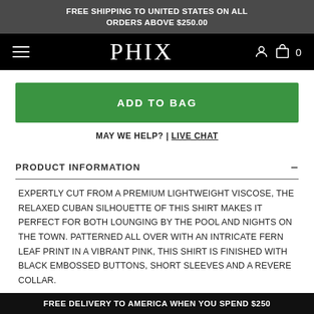FREE SHIPPING TO UNITED STATES ON ALL ORDERS ABOVE $250.00
[Figure (logo): PHIX brand logo navigation bar with hamburger menu, PHIX text logo, user icon, cart icon and 0 count]
ADD TO BAG
MAY WE HELP? | LIVE CHAT
PRODUCT INFORMATION
EXPERTLY CUT FROM A PREMIUM LIGHTWEIGHT VISCOSE, THE RELAXED CUBAN SILHOUETTE OF THIS SHIRT MAKES IT PERFECT FOR BOTH LOUNGING BY THE POOL AND NIGHTS ON THE TOWN. PATTERNED ALL OVER WITH AN INTRICATE FERN LEAF PRINT IN A VIBRANT PINK, THIS SHIRT IS FINISHED WITH BLACK EMBOSSED BUTTONS, SHORT SLEEVES AND A REVERE COLLAR.
FREE DELIVERY TO AMERICA WHEN YOU SPEND $250